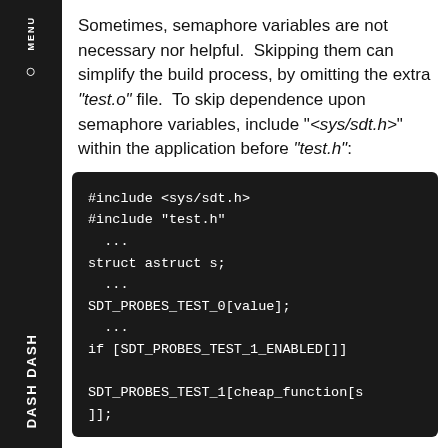Sometimes, semaphore variables are not necessary nor helpful.  Skipping them can simplify the build process, by omitting the extra "test.o" file.  To skip dependence upon semaphore variables, include "<sys/sdt.h>" within the application before "test.h":
#include <sys/sdt.h>
#include "test.h"
  ...
struct astruct s;
  ...
SDT_PROBES_TEST_0[value];
  ...
if [SDT_PROBES_TEST_1_ENABLED[]]

SDT_PROBES_TEST_1[cheap_function[s
]];